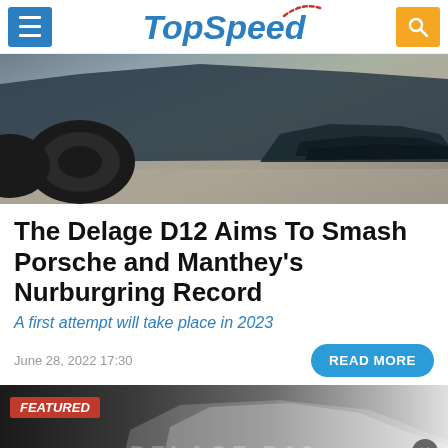TopSpeed
[Figure (photo): Close-up photo of the front splitter and wheel of the Delage D12 hypercar on a tarmac surface, dark blue/slate color bodywork with aero fins visible]
The Delage D12 Aims To Smash Porsche and Manthey's Nurburgring Record
A first attempt will take place in 2023
June 28, 2022 17:30
READ MORE
[Figure (photo): Featured strip showing partial view of the white Delage D12 hypercar with 'DELAGE D12' text watermark, with a red FEATURED label in the top left corner]